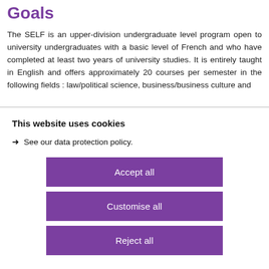Goals
The SELF is an upper-division undergraduate level program open to university undergraduates with a basic level of French and who have completed at least two years of university studies. It is entirely taught in English and offers approximately 20 courses per semester in the following fields : law/political science, business/business culture and
This website uses cookies
➜ See our data protection policy.
Accept all
Customise all
Reject all